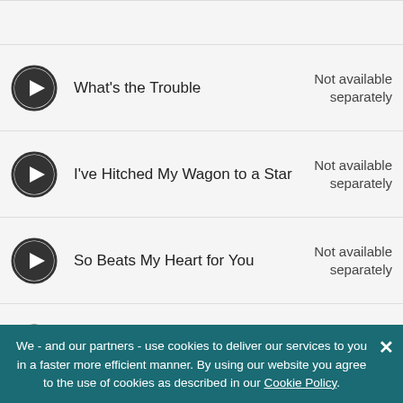What's the Trouble — Not available separately
I've Hitched My Wagon to a Star — Not available separately
So Beats My Heart for You — Not available separately
Jumpin' Jackie — Not available separately
Moonlight Becomes You — Not available separately
I'd Love to Take Orders From You — Not available separately
We - and our partners - use cookies to deliver our services to you in a faster more efficient manner. By using our website you agree to the use of cookies as described in our Cookie Policy.